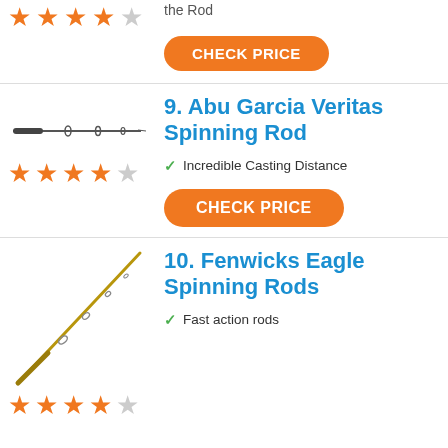[Figure (illustration): Horizontal fishing rod image (partial, top of page)]
the Rod
CHECK PRICE
[Figure (illustration): Stars rating: 4 out of 5]
9. Abu Garcia Veritas Spinning Rod
[Figure (illustration): Horizontal fishing rod illustration]
[Figure (illustration): Stars rating: 4 out of 5 for item 9]
Incredible Casting Distance
CHECK PRICE
10. Fenwicks Eagle Spinning Rods
[Figure (illustration): Diagonal fishing rod image for item 10]
Fast action rods
[Figure (illustration): Stars rating: partial, 4 out of 5 for item 10]